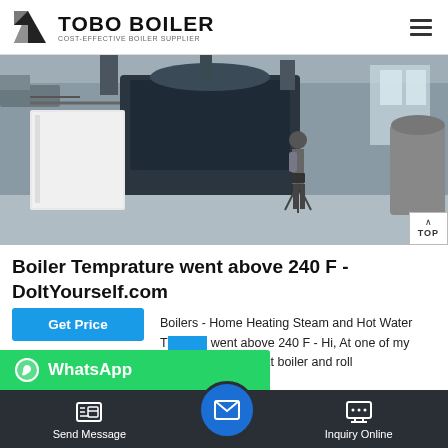TOBO BOILER — COST-EFFECTIVE BOILER SUPPLIER
[Figure (photo): Industrial boiler room with large blue/black boilers, pipes, and a person standing with a tripod camera]
Boiler Temprature went above 240 F - DoItYourself.com
Boilers - Home Heating Steam and Hot Water Temperature went above 240 F - Hi, At one of my tern out any flame at boiler and roll rn ff in
Send Message | Inquiry Online